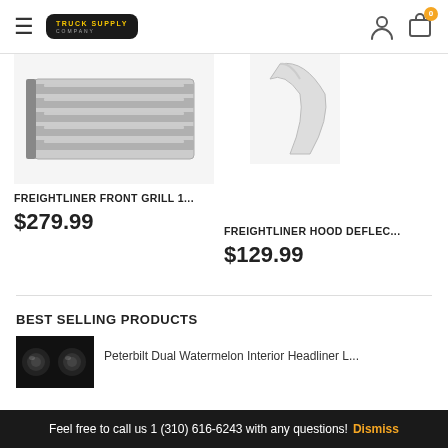Truck Supply Company — Navigation header with menu icon, logo, user icon, and cart (0 items)
[Figure (photo): Freightliner front grill product photo — silver louvered rectangular grille panel]
FREIGHTLINER FRONT GRILL 1...
$279.99
[Figure (photo): Freightliner hood deflector product photo — white curved deflector piece]
FREIGHTLINER HOOD DEFLEC...
$129.99
BEST SELLING PRODUCTS
[Figure (photo): Peterbilt Dual Watermelon Interior Headliner product thumbnail — dark image showing interior light]
Peterbilt Dual Watermelon Interior Headliner L...
Feel free to call us 1 (310) 616-6243 with any questions! Dismiss